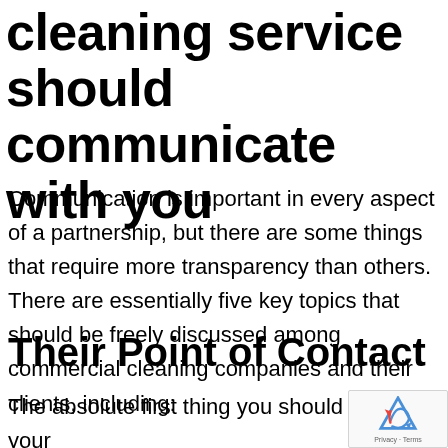cleaning service should communicate with you
Communication is important in every aspect of a partnership, but there are some things that require more transparency than others. There are essentially five key topics that should be freely discussed among commercial cleaning companies and their clients, including:
Their Point of Contact
The absolute first thing you should do with your to provide them with an established point of contact